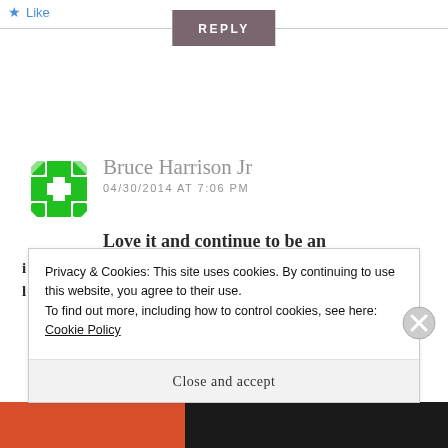Like
[Figure (screenshot): REPLY button with dark mauve/grey background and white text]
[Figure (illustration): Green geometric cross/snowflake avatar icon for Bruce Harrison Jr]
Bruce Harrison Jr
04/30/2014 AT 7:06 PM
Love it and continue to be an
Privacy & Cookies: This site uses cookies. By continuing to use this website, you agree to their use.
To find out more, including how to control cookies, see here: Cookie Policy
Close and accept